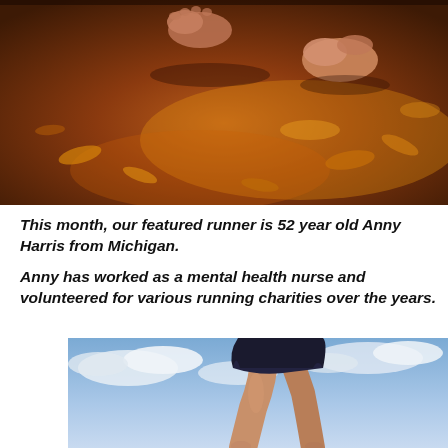[Figure (photo): Close-up of bare feet running on autumn leaves and earthy ground, warm orange and brown tones]
This month, our featured runner is 52 year old Anny Harris from Michigan.
Anny has worked as a mental health nurse and volunteered for various running charities over the years.
[Figure (photo): Runner's legs in black shorts mid-stride against a blue sky with clouds]